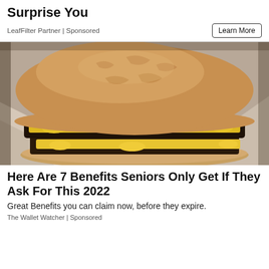Surprise You
LeafFilter Partner | Sponsored
[Figure (photo): Close-up photo of a double cheeseburger with melted yellow cheese and two beef patties on a sesame-free bun, sitting on crinkled white paper wrapper]
Here Are 7 Benefits Seniors Only Get If They Ask For This 2022
Great Benefits you can claim now, before they expire.
The Wallet Watcher | Sponsored